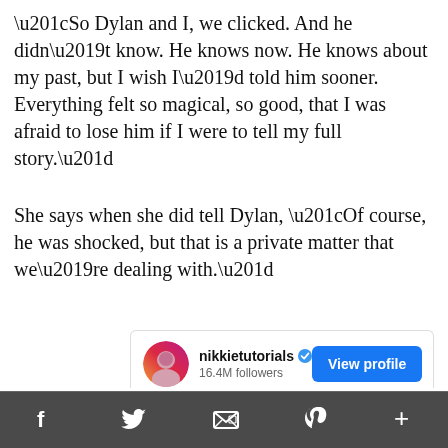“So Dylan and I, we clicked. And he didn’t know. He knows now. He knows about my past, but I wish I’d told him sooner. Everything felt so magical, so good, that I was afraid to lose him if I were to tell my full story.”
She says when she did tell Dylan, “Of course, he was shocked, but that is a private matter that we’re dealing with.”
[Figure (screenshot): Instagram profile card for nikkietutorials with 16.4M followers and a blue View profile button, below which is an embedded video player showing an error message: The video cannot be played in this browser. (Error Code: 242632)]
Social media share bar with icons: Facebook, Twitter, Email, Pinterest, Plus